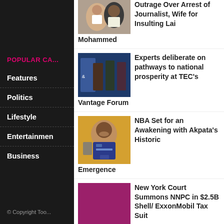POPULAR CA...
Features
Politics
Lifestyle
Entertainment
Business
© Copyright Too...
Outrage Over Arrest of Journalist, Wife for Insulting Lai Mohammed
Experts deliberate on pathways to national prosperity at TEC's Vantage Forum
NBA Set for an Awakening with Akpata's Historic Emergence
New York Court Summons NNPC in $2.5B Shell/ExxonMobil Tax Suit